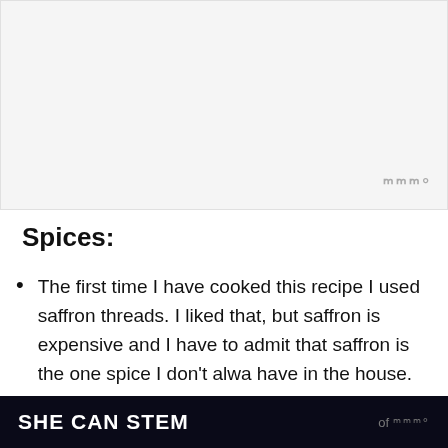[Figure (photo): Light gray image placeholder area at top of page]
Spices:
The first time I have cooked this recipe I used saffron threads. I liked that, but saffron is expensive and I have to admit that saffron is the one spice I don't alwa have in the house.
So, I kind of leave it out nowada replace it with a bit of turmeric which helps
SHE CAN STEM   of